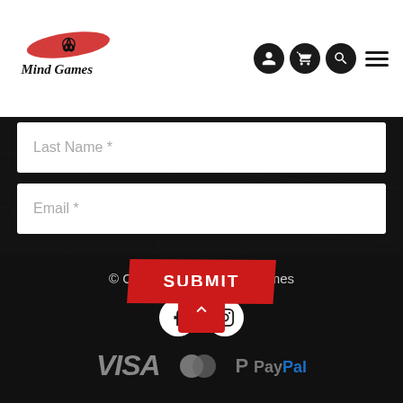[Figure (logo): Mind Games logo with red brush stroke and knotted symbol above stylized script text]
[Figure (infographic): Header navigation icons: user account circle, shopping cart circle, search circle, hamburger menu]
Last Name *
Email *
SUBMIT
© Copyright 2022 Mind Games
[Figure (infographic): Facebook and Instagram social media icons in white circles on black background]
[Figure (infographic): Payment icons: VISA, Mastercard, PayPal logos in grey on black background]